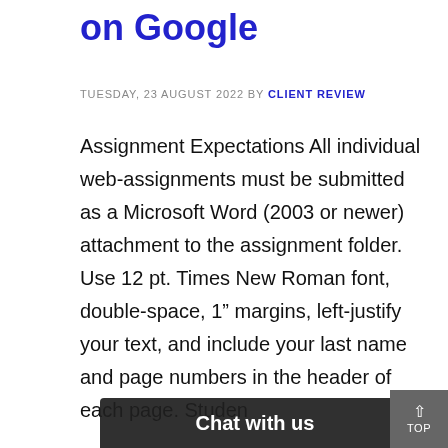on Google
TUESDAY, 23 AUGUST 2022 BY CLIENT REVIEW
Assignment Expectations All individual web-assignments must be submitted as a Microsoft Word (2003 or newer) attachment to the assignment folder. Use 12 pt. Times New Roman font, double-space, 1” margins, left-justify your text, and include your last name and page numbers in the header of each page. Studen… iate APA (…